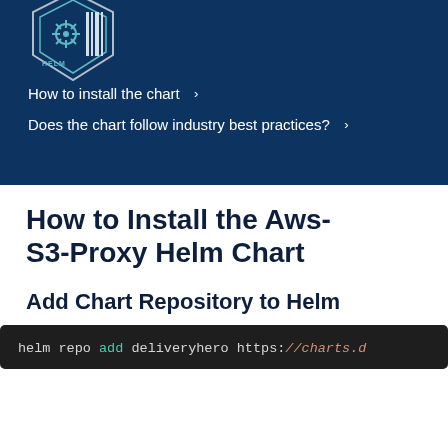[Figure (logo): Helm logo — shield shape with helm/wheel icon and barcode-like pattern in dark blue and white]
How to install the chart >
Does the chart follow industry best practices? >
How to Install the Aws-S3-Proxy Helm Chart
Add Chart Repository to Helm
helm repo add deliveryhero https://charts.d